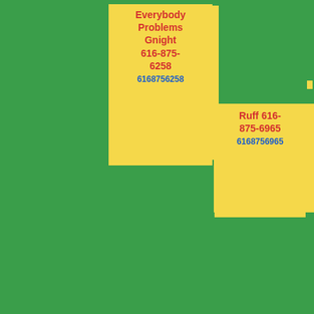Everybody Problems Gnight 616-875-6258 6168756258
Ruff 616-875-6965 6168756965
Complained 616-875-6684 6168756684
Beginning Fact 616-875-6028 6168756028
Earn Bringing Talking 616-875-6734 6168756734
Fascinating Depths 616-875-6132 6168756132
Writing Rain 616-875-6388 6168756388
Scruffs 616-875-6001 6168756001
Alberic 616-875-6030 6168756030
Shorter